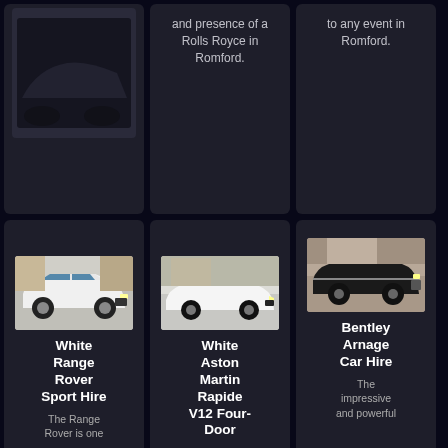[Figure (photo): Top-left dark card, partially visible car image at top (cut off)]
and presence of a Rolls Royce in Romford.
to any event in Romford.
[Figure (photo): White Range Rover Sport car image]
White Range Rover Sport Hire
The Range Rover is one
[Figure (photo): White Aston Martin Rapide V12 car image]
White Aston Martin Rapide V12 Four-Door
[Figure (photo): Bentley Arnage black car image]
Bentley Arnage Car Hire
The impressive and powerful